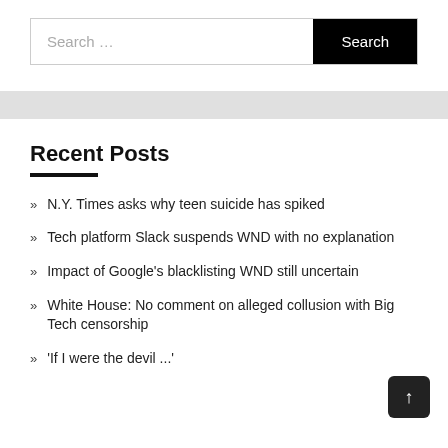Search ...
Recent Posts
N.Y. Times asks why teen suicide has spiked
Tech platform Slack suspends WND with no explanation
Impact of Google's blacklisting WND still uncertain
White House: No comment on alleged collusion with Big Tech censorship
'If I were the devil ...'